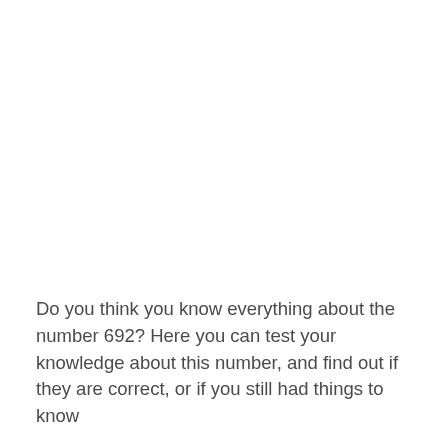Do you think you know everything about the number 692? Here you can test your knowledge about this number, and find out if they are correct, or if you still had things to know